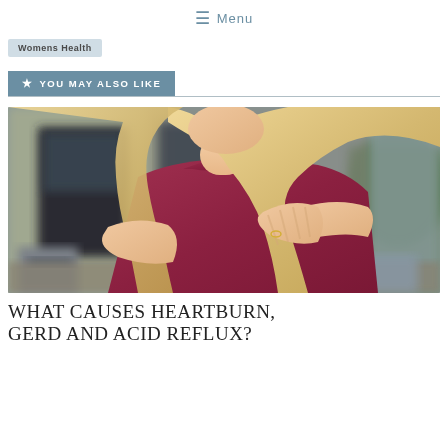☰ Menu
Womens Health
★ YOU MAY ALSO LIKE
[Figure (photo): A blonde woman in a red top pressing her hands to her chest, standing outdoors in a blurred background setting, suggesting heartburn or chest discomfort.]
WHAT CAUSES HEARTBURN, GERD AND ACID REFLUX?